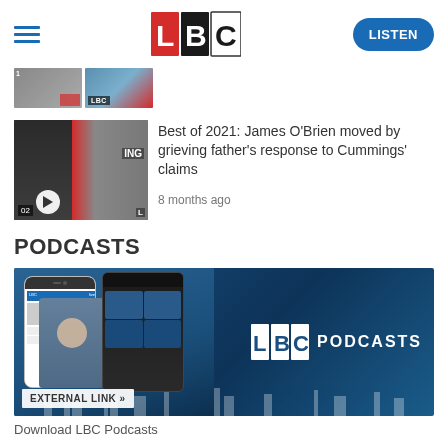LBC - LISTEN
[Figure (screenshot): Partially visible thumbnail images from a previous article or video]
[Figure (photo): Thumbnail of James O'Brien on LBC TV show with play button]
Best of 2021: James O'Brien moved by grieving father's response to Cummings' claims
8 months ago
PODCASTS
[Figure (screenshot): LBC Podcasts banner showing phone mockups with the app and LBC Podcasts logo on dark blue background with London skyline silhouette]
Download LBC Podcasts